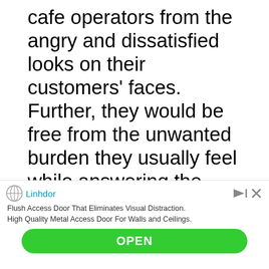cafe operators from the angry and dissatisfied looks on their customers' faces. Further, they would be free from the unwanted burden they usually feel while answering the customers' questions to which no reasonable answers seem to exist. AND THEY WOULD NOT HAVE TO SPEND THEIR PRECIOUS TIME (UNWILLINGLY AGAIN) IN SUCH NONSENSE DISCUSSIONS
[Figure (other): Advertisement banner for Linhdor: 'Flush Access Door That Eliminates Visual Distraction. High Quality Metal Access Door For Walls and Ceilings.' with an OPEN button.]